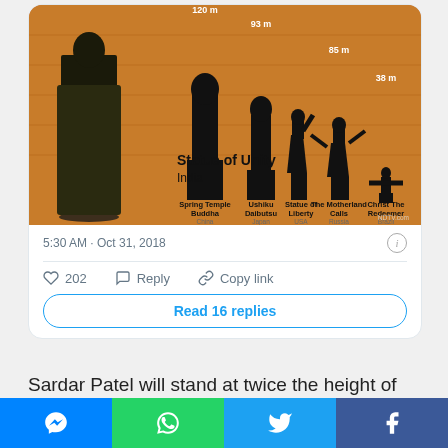[Figure (infographic): Comparison infographic showing heights of world's tallest statues on an orange background. Statues shown: Spring Temple Buddha (China) 120m, Ushiku Daibutsu (Japan) 93m, Statue of Liberty (USA), The Motherland Calls (Russia) 85m, Christ The Redeemer (Brazil) 38m. Statue of Unity, India is shown on the left (tallest). Source: NDTV.com.]
5:30 AM · Oct 31, 2018
202  Reply  Copy link
Read 16 replies
Sardar Patel will stand at twice the height of